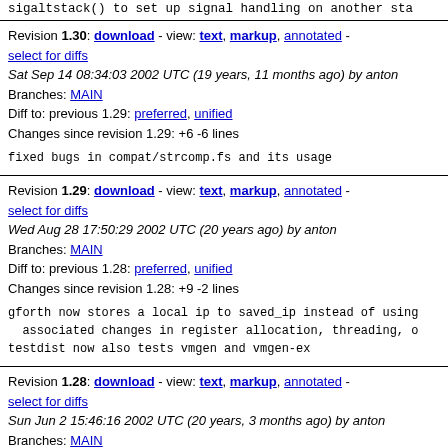sigaltstack() to set up signal handling on another sta
Revision 1.30: download - view: text, markup, annotated - select for diffs
Sat Sep 14 08:34:03 2002 UTC (19 years, 11 months ago) by anton
Branches: MAIN
Diff to: previous 1.29: preferred, unified
Changes since revision 1.29: +6 -6 lines
fixed bugs in compat/strcomp.fs and its usage
Revision 1.29: download - view: text, markup, annotated - select for diffs
Wed Aug 28 17:50:29 2002 UTC (20 years ago) by anton
Branches: MAIN
Diff to: previous 1.28: preferred, unified
Changes since revision 1.28: +9 -2 lines
gforth now stores a local ip to saved_ip instead of using
  associated changes in register allocation, threading, o
testdist now also tests vmgen and vmgen-ex
Revision 1.28: download - view: text, markup, annotated - select for diffs
Sun Jun 2 15:46:16 2002 UTC (20 years, 3 months ago) by anton
Branches: MAIN